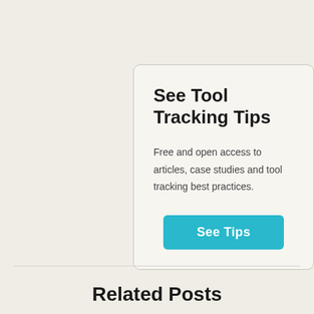See Tool Tracking Tips
Free and open access to articles, case studies and tool tracking best practices.
See Tips
Related Posts